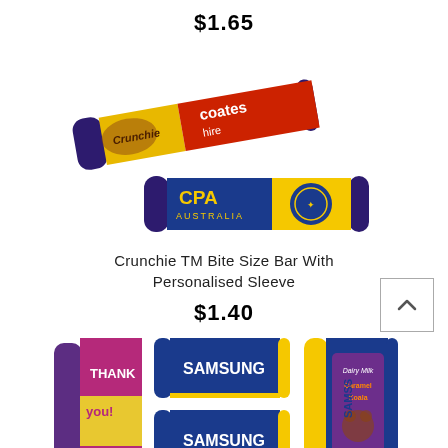$1.65
[Figure (photo): Two Crunchie TM Bite Size Bars with personalised sleeves - one with Coates Hire branding (red and white) and one with CPA Australia branding (blue and yellow)]
Crunchie TM Bite Size Bar With Personalised Sleeve
$1.40
[Figure (photo): Three chocolate bars with personalised sleeves - Thank You design (purple/pink), two Samsung branded bars (dark blue with yellow trim), and a Cadbury Caramel Koala bar]